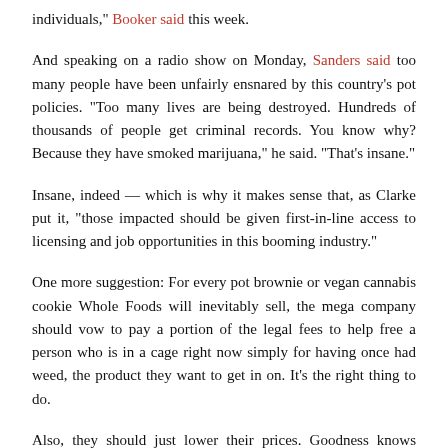individuals," Booker said this week.
And speaking on a radio show on Monday, Sanders said too many people have been unfairly ensnared by this country's pot policies. "Too many lives are being destroyed. Hundreds of thousands of people get criminal records. You know why? Because they have smoked marijuana," he said. "That's insane."
Insane, indeed — which is why it makes sense that, as Clarke put it, "those impacted should be given first-in-line access to licensing and job opportunities in this booming industry."
One more suggestion: For every pot brownie or vegan cannabis cookie Whole Foods will inevitably sell, the mega company should vow to pay a portion of the legal fees to help free a person who is in a cage right now simply for having once had weed, the product they want to get in on. It's the right thing to do.
Also, they should just lower their prices. Goodness knows they'll be the most expensive option around because, let's be honest here,